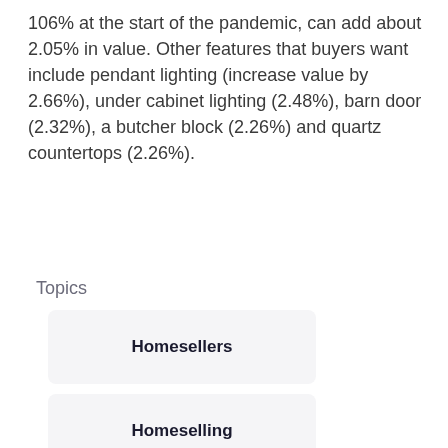106% at the start of the pandemic, can add about 2.05% in value. Other features that buyers want include pendant lighting (increase value by 2.66%), under cabinet lighting (2.48%), barn door (2.32%), a butcher block (2.26%) and quartz countertops (2.26%).
Topics
Homesellers
Homeselling